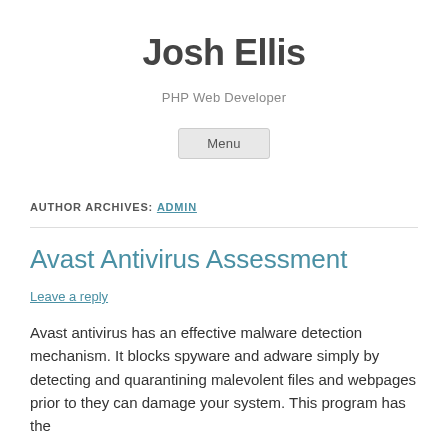Josh Ellis
PHP Web Developer
Menu
AUTHOR ARCHIVES: ADMIN
Avast Antivirus Assessment
Leave a reply
Avast antivirus has an effective malware detection mechanism. It blocks spyware and adware simply by detecting and quarantining malevolent files and webpages prior to they can damage your system. This program has the